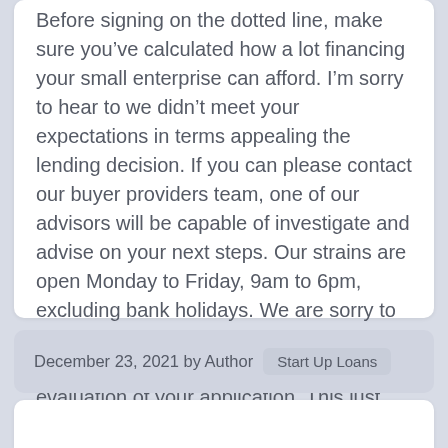Before signing on the dotted line, make sure you've calculated how a lot financing your small enterprise can afford. I'm sorry to hear to we didn't meet your expectations in terms appealing the lending decision. If you can please contact our buyer providers team, one of our advisors will be capable of investigate and advise on your next steps. Our strains are open Monday to Friday, 9am to 6pm, excluding bank holidays. We are sorry to hear that you simply had poor contact from your Delivery Partner through the evaluation of your application. This just isn't typical of the service our Delivery Partners present and this suggestions might be shared.... Read More
December 23, 2021 by Author  Start Up Loans